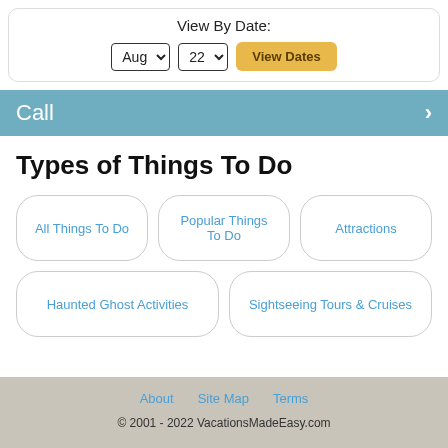View By Date:
[Figure (screenshot): Date picker with Aug and 22 dropdowns and View Dates button]
Call
Types of Things To Do
All Things To Do
Popular Things To Do
Attractions
Haunted Ghost Activities
Sightseeing Tours & Cruises
About   Site Map   Terms
© 2001 - 2022 VacationsMadeEasy.com